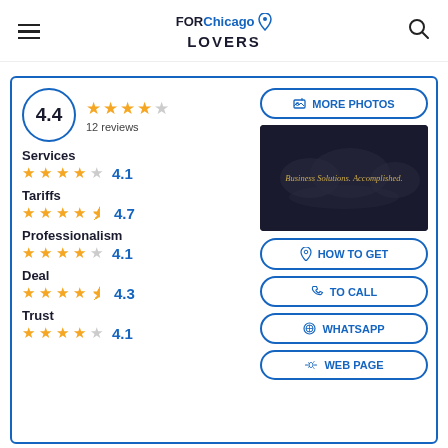FOR Chicago LOVERS
4.4 — 12 reviews
Services 4.1
Tariffs 4.7
Professionalism 4.1
Deal 4.3
Trust 4.1
[Figure (screenshot): Business photo with text: Business Solutions. Accomplished.]
MORE PHOTOS
HOW TO GET
TO CALL
WHATSAPP
WEB PAGE